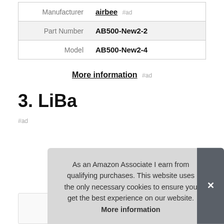|  |  |
| --- | --- |
| Manufacturer | airbee #ad |
| Part Number | AB500-New2-2 |
| Model | AB500-New2-4 |
More information #ad
3. LiBa
#ad
As an Amazon Associate I earn from qualifying purchases. This website uses the only necessary cookies to ensure you get the best experience on our website. More information